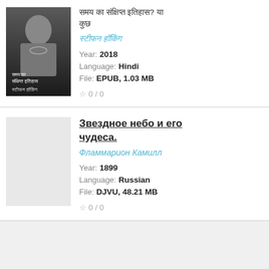[Figure (illustration): Book cover image in grayscale showing a person wearing jewelry, with Hindi text overlay]
समय का संक्षिप्त इतिहास? या कुछ - (Scrambled Hindi title text)
Author name in Hindi (scrambled/corrupted text) - cyan/teal colored italic
Year: 2018
Language: Hindi
File: EPUB, 1.03 MB
☆ 0 / 0
Звездное небо и его чудеса.
Фламмарион Камилл
Year: 1899
Language: Russian
File: DJVU, 48.21 MB
☆ 0 / 0